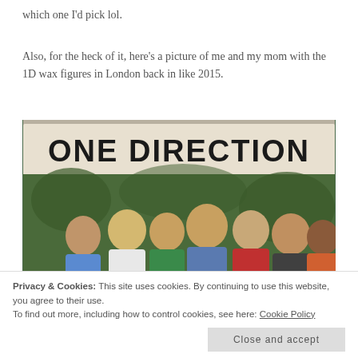which one I'd pick lol.
Also, for the heck of it, here's a picture of me and my mom with the 1D wax figures in London back in like 2015.
[Figure (photo): Photo of two people posing with One Direction wax figures in front of a 'ONE DIRECTION' banner, taken at Madame Tussauds London around 2015.]
Privacy & Cookies: This site uses cookies. By continuing to use this website, you agree to their use.
To find out more, including how to control cookies, see here: Cookie Policy
Close and accept